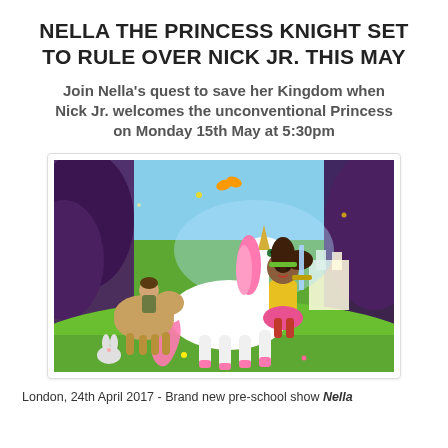NELLA THE PRINCESS KNIGHT SET TO RULE OVER NICK JR. THIS MAY
Join Nella's quest to save her Kingdom when Nick Jr. welcomes the unconventional Princess on Monday 15th May at 5:30pm
[Figure (illustration): Animated illustration showing Nella the Princess Knight riding a white unicorn with pink mane in a fantasy forest setting, accompanied by a boy on a horse, with a castle in the background and various forest animals.]
London, 24th April 2017 - Brand new pre-school show Nella